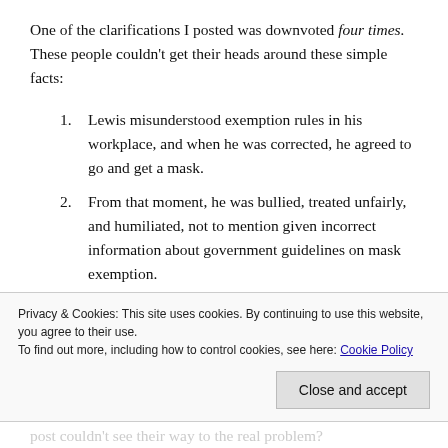One of the clarifications I posted was downvoted four times. These people couldn't get their heads around these simple facts:
Lewis misunderstood exemption rules in his workplace, and when he was corrected, he agreed to go and get a mask.
From that moment, he was bullied, treated unfairly, and humiliated, not to mention given incorrect information about government guidelines on mask exemption.
Privacy & Cookies: This site uses cookies. By continuing to use this website, you agree to their use. To find out more, including how to control cookies, see here: Cookie Policy [Close and accept]
post couldn't see their way to the real problem?